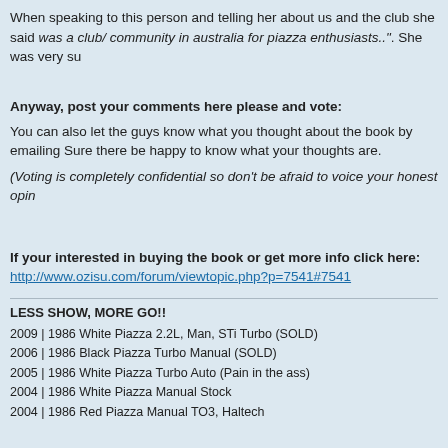When speaking to this person and telling her about us and the club she said was a club/ community in australia for piazza enthusiasts..". She was very su
Anyway, post your comments here please and vote:
You can also let the guys know what you thought about the book by emailing Sure there be happy to know what your thoughts are.
(Voting is completely confidential so don't be afraid to voice your honest opin
If your interested in buying the book or get more info click here:
http://www.ozisu.com/forum/viewtopic.php?p=7541#7541
LESS SHOW, MORE GO!!
2009 | 1986 White Piazza 2.2L, Man, STi Turbo (SOLD)
2006 | 1986 Black Piazza Turbo Manual (SOLD)
2005 | 1986 White Piazza Turbo Auto (Pain in the ass)
2004 | 1986 White Piazza Manual Stock
2004 | 1986 Red Piazza Manual TO3, Haltech